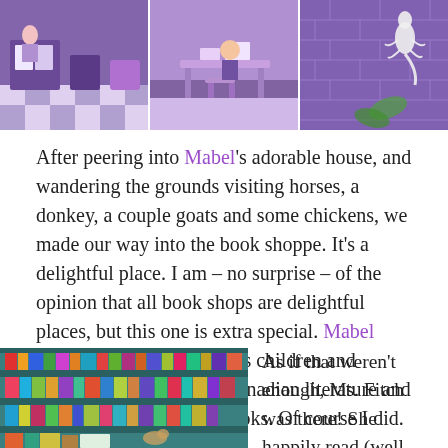[Figure (photo): Three photos side by side showing a purple-themed miniature dollhouse room, a purple desk/room setup, and a purple brick wall with a white lizard decoration.]
After peering into Mabel's adorable house, and wandering the grounds visiting horses, a donkey, a couple goats and some chickens, we made our way into the book shoppe. It's a delightful place. I am – no surprise – of the opinion that all book shops are delightful places, but this one is extra special. Mabel Murple's is geared towards children and carries a lot of Atlantic Canadian literature and I wanted to buy all the books. Of course I did.
[Figure (photo): A photo of colorful children's books arranged on teal/blue shelves in a bookshop.]
As if that weren't enough, Ms. Fitch was there! She happily read (well, recited more